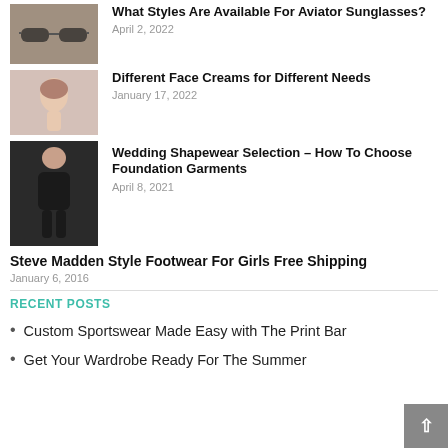[Figure (photo): Thumbnail image of aviator sunglasses on a surface]
What Styles Are Available For Aviator Sunglasses?
April 2, 2022
[Figure (photo): Thumbnail image of a woman touching her face]
Different Face Creams for Different Needs
January 17, 2022
[Figure (photo): Thumbnail image of a woman in black shapewear]
Wedding Shapewear Selection – How To Choose Foundation Garments
April 8, 2021
Steve Madden Style Footwear For Girls Free Shipping
January 6, 2016
RECENT POSTS
Custom Sportswear Made Easy with The Print Bar
Get Your Wardrobe Ready For The Summer